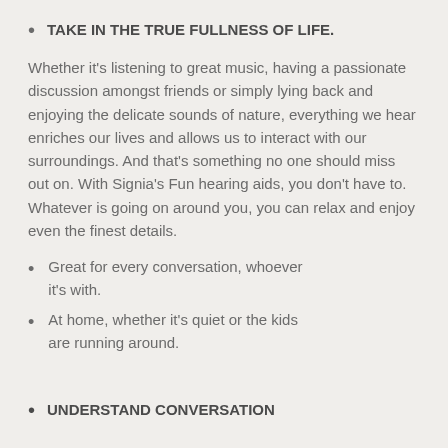TAKE IN THE TRUE FULLNESS OF LIFE.
Whether it’s listening to great music, having a passionate discussion amongst friends or simply lying back and enjoying the delicate sounds of nature, everything we hear enriches our lives and allows us to interact with our surroundings. And that’s something no one should miss out on. With Signia’s Fun hearing aids, you don’t have to. Whatever is going on around you, you can relax and enjoy even the finest details.
Great for every conversation, whoever it’s with.
At home, whether it’s quiet or the kids are running around.
UNDERSTAND CONVERSATION